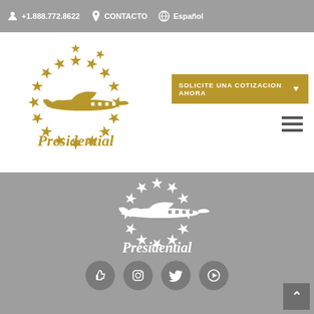+1.888.772.8622  CONTACTO  Español
[Figure (logo): Presidential Aviation logo — gold plane with circle of gold stars and 'Presidential' text, on white background]
SOLICITE UNA COTIZACION AHORA
[Figure (logo): Presidential Aviation logo — white plane with circle of white stars and 'Presidential' text, on gray background]
[Figure (infographic): Social media icons row: Facebook thumbs-up, Instagram, Twitter, YouTube/Play — all in dark gray circles on gray background]
^